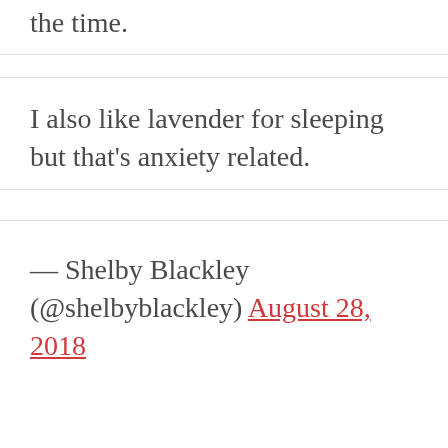the time.
I also like lavender for sleeping but that’s anxiety related.
— Shelby Blackley (@shelbyblackley) August 28, 2018